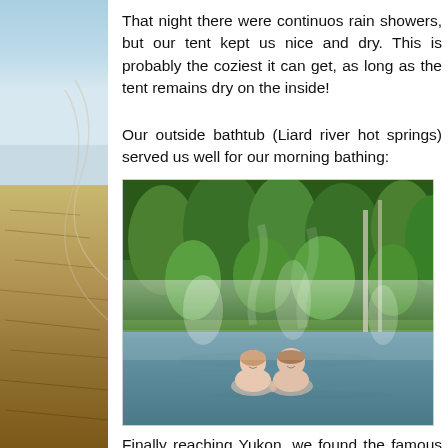[Figure (photo): Left sidebar showing beach/coastline scene with blue sky, water, and sandy/rocky shore with decorative arc lines overlaid]
That night there were continuos rain showers, but our tent kept us nice and dry. This is probably the coziest it can get, as long as the tent remains dry on the inside!
Our outside bathtub (Liard river hot springs) served us well for our morning bathing:
[Figure (photo): Two people (a man and a woman) bathing in a steaming natural hot spring pool surrounded by green trees and mist rising from the warm water]
Finally reaching Yukon, we found the famous sign post forest consisting of over 60'000 signs. We eve...